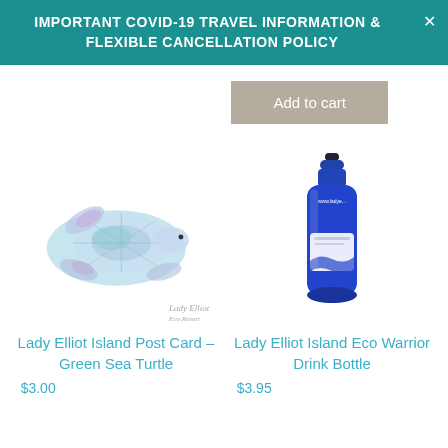IMPORTANT COVID-19 TRAVEL INFORMATION & FLEXIBLE CANCELLATION POLICY
Add to cart
[Figure (illustration): Watercolor illustration of a green sea turtle swimming, with purple, blue, and teal hues. Lady Elliot Island signature mark at bottom right.]
[Figure (photo): Blue plastic sports drink bottle branded with www.ladye... text and Lady Elliot Island logo/label.]
Lady Elliot Island Post Card – Green Sea Turtle
$3.00
Lady Elliot Island Eco Warrior Drink Bottle
$3.95